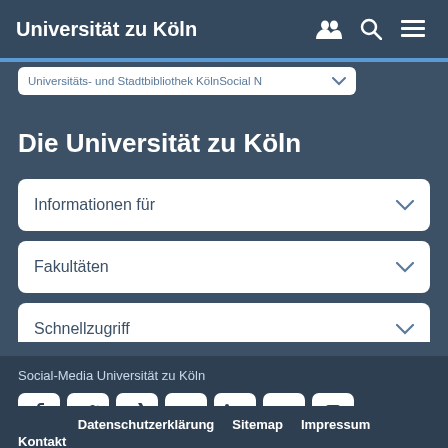Universität zu Köln
Universitäts- und Stadtbibliothek KölnSocial N
Die Universität zu Köln
Informationen für
Fakultäten
Schnellzugriff
Social-Media Universität zu Köln
Datenschutzerklärung  Sitemap  Impressum
Kontakt